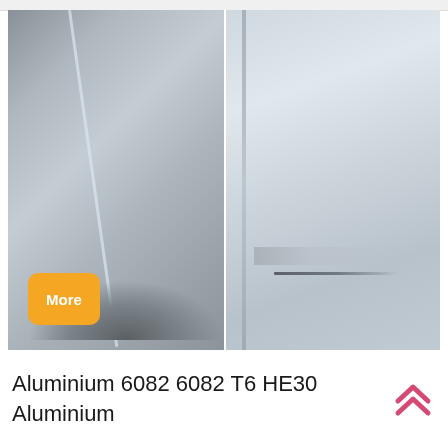[Figure (photo): Two side-by-side close-up photographs of aluminium metal surfaces. Left photo shows a silvery-grey brushed aluminium sheet with a diagonal scratch or seam line and dark rounded forms at bottom. Right photo shows a lighter aluminium surface with a vertical seam/edge and a horizontal scratch mark near the lower portion.]
More
Aluminium 6082 6082 T6 HE30 Aluminium